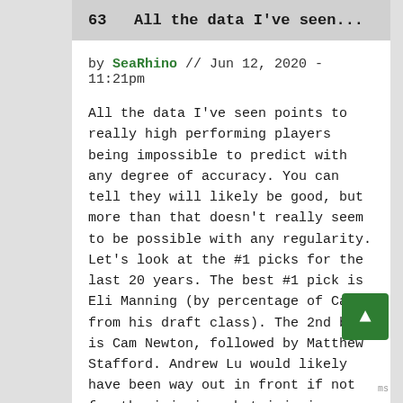63   All the data I've seen...
by SeaRhino // Jun 12, 2020 - 11:21pm
All the data I've seen points to really high performing players being impossible to predict with any degree of accuracy. You can tell they will likely be good, but more than that doesn't really seem to be possible with any regularity. Let's look at the #1 picks for the last 20 years. The best #1 pick is Eli Manning (by percentage of CarAV from his draft class). The 2nd best is Cam Newton, followed by Matthew Stafford. Andrew Lu would likely have been way out in front if not for the injuries, but injuries count. The only two who were true busts (not even worth a 1st round pick) were Courtney Brown